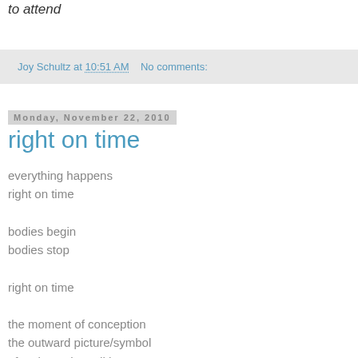to attend
Joy Schultz at 10:51 AM   No comments:
Monday, November 22, 2010
right on time
everything happens
right on time

bodies begin
bodies stop

right on time

the moment of conception
the outward picture/symbol
of an inward condition...